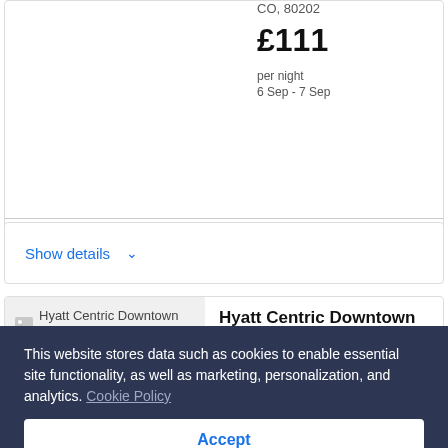CO, 80202
£111
per night
6 Sep - 7 Sep
Show details ∨
[Figure (photo): Hyatt Centric Downtown Denver hotel image placeholder]
Hyatt Centric Downtown Denver
★★★½
1776 Champa St, Denver, CO,
This website stores data such as cookies to enable essential site functionality, as well as marketing, personalization, and analytics. Cookie Policy
Accept
Deny